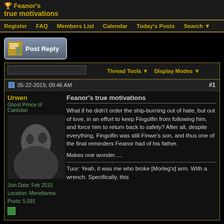Feanor's true motivations
Register  FAQ  Members List  Calendar  Today's Posts  Search
Post Reply
Thread Tools  Display Modes
05-22-2019, 09:46 AM  #1
Urwen
Ghost Prince of Cardolan
Join Date: Feb 2010
Location: Meneltarma
Posts: 5,091
Feanor's true motivations
What if he didn't order the ship-burning out of hate, but out of love, in an effort to keep Fingolfin from following him, and force him to return back to safety? After all, despite everything, Fingolfin was still Finwe's son, and thus one of the final reminders Feanor had of his father.

Makes one wonder.....

Tuor: Yeah, it was me who broke [Morleg's] arm. With a wrench. Specifically, this